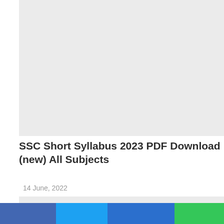[Figure (other): Gray placeholder image block at the top of the article]
SSC Short Syllabus 2023 PDF Download (new) All Subjects
14 June, 2022
[Figure (other): Gray placeholder image/content block below the date]
[Figure (other): Social sharing bar with four colored segments: blue (Facebook), light blue (Twitter), dark blue, and green (WhatsApp)]